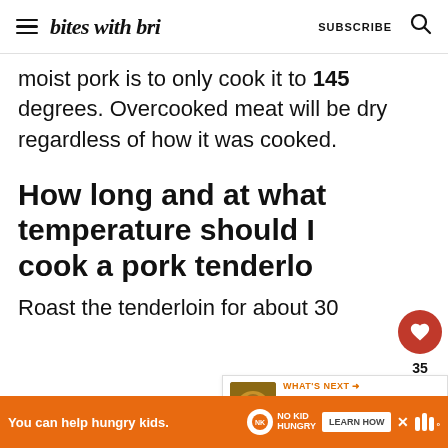bites with bri — SUBSCRIBE
moist pork is to only cook it to 145 degrees. Overcooked meat will be dry regardless of how it was cooked.
How long and at what temperature should I cook a pork tenderloin
Roast the tenderloin for about 30
You can help hungry kids. NO KID HUNGRY LEARN HOW